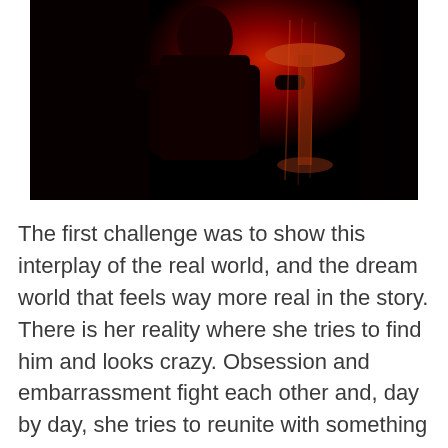[Figure (photo): A dark, moody photograph showing a silhouetted figure seated in a dimly lit room bathed in red light, with what appears to be a table or lamp in the background, heavy shadows and deep red tones dominating the image.]
The first challenge was to show this interplay of the real world, and the dream world that feels way more real in the story. There is her reality where she tries to find him and looks crazy. Obsession and embarrassment fight each other and, day by day, she tries to reunite with something so real, yet real only for her. Maybe we should forget about the real world then? Night after night they see each other in a dream,